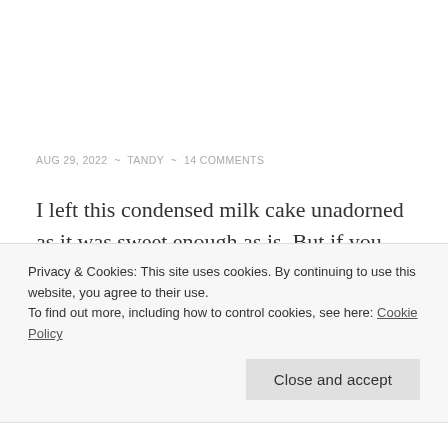AUG 29, 2022 ~ TANDY ~ 14 COMMENTS
I left this condensed milk cake unadorned as it was sweet enough as is. But if you feel it needs extra then cut the cake in half and sandwich it together with caramelised condensed milk
Privacy & Cookies: This site uses cookies. By continuing to use this website, you agree to their use.
To find out more, including how to control cookies, see here: Cookie Policy
Close and accept